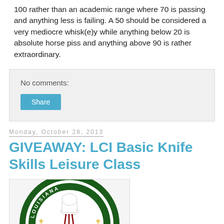100 rather than an academic range where 70 is passing and anything less is failing. A 50 should be considered a very mediocre whisk(e)y while anything below 20 is absolute horse piss and anything above 90 is rather extraordinary.
No comments:
Share
Monday, October 28, 2013
GIVEAWAY: LCI Basic Knife Skills Leisure Class
[Figure (logo): Louisiana Culinary Institute circular seal logo with dark green border, chef's hat and utensils in center, fleur-de-lis decorations, text reading LOUISIANA CULINARY INSTITUTE around the ring]